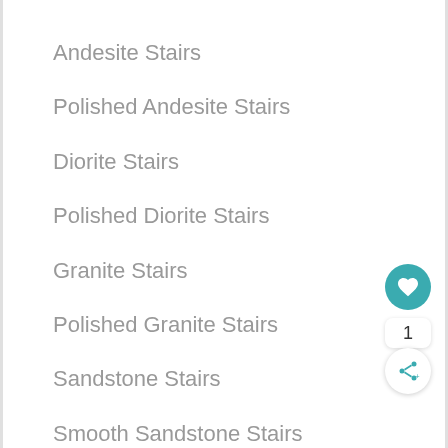Andesite Stairs
Polished Andesite Stairs
Diorite Stairs
Polished Diorite Stairs
Granite Stairs
Polished Granite Stairs
Sandstone Stairs
Smooth Sandstone Stairs